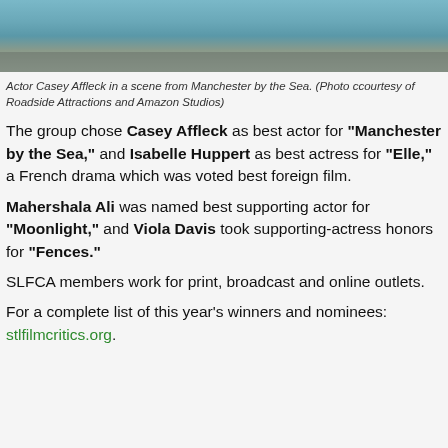[Figure (photo): A still from the film Manchester by the Sea showing a scene with a blue wooden structure in the background.]
Actor Casey Affleck in a scene from Manchester by the Sea. (Photo ccourtesy of Roadside Attractions and Amazon Studios)
The group chose Casey Affleck as best actor for “Manchester by the Sea,” and Isabelle Huppert as best actress for “Elle,” a French drama which was voted best foreign film.
Mahershala Ali was named best supporting actor for “Moonlight,” and Viola Davis took supporting-actress honors for “Fences.”
SLFCA members work for print, broadcast and online outlets.
For a complete list of this year’s winners and nominees: stlfilmcritics.org.